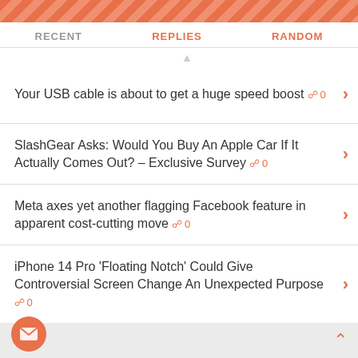RECENT | REPLIES | RANDOM
Your USB cable is about to get a huge speed boost 🗨0
SlashGear Asks: Would You Buy An Apple Car If It Actually Comes Out? – Exclusive Survey 🗨0
Meta axes yet another flagging Facebook feature in apparent cost-cutting move 🗨0
iPhone 14 Pro 'Floating Notch' Could Give Controversial Screen Change An Unexpected Purpose 🗨0
This PDF reader app has a million downloads on the Play Store - but it's just adware 🗨0